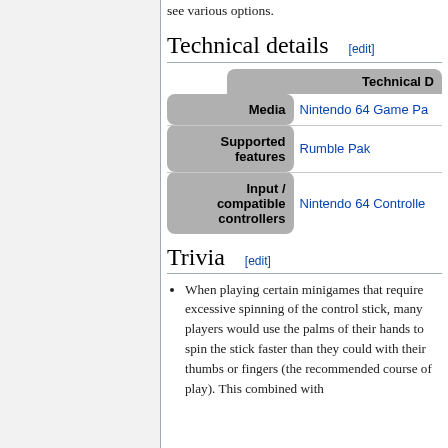see various options.
Technical details [edit]
|  | Technical D... |
| --- | --- |
| Media | Nintendo 64 Game Pa... |
| Supported features | Rumble Pak |
| Input / compatible controllers | Nintendo 64 Controlle... |
Trivia [edit]
When playing certain minigames that require excessive spinning of the control stick, many players would use the palms of their hands to spin the stick faster than they could with their thumbs or fingers (the recommended course of play). This combined with